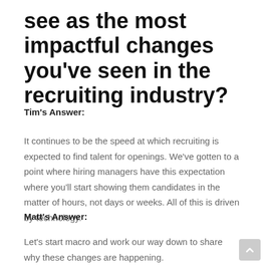see as the most impactful changes you've seen in the recruiting industry?
Tim's Answer:
It continues to be the speed at which recruiting is expected to find talent for openings. We've gotten to a point where hiring managers have this expectation where you'll start showing them candidates in the matter of hours, not days or weeks. All of this is driven by technology.
Matt's Answer:
Let's start macro and work our way down to share why these changes are happening.